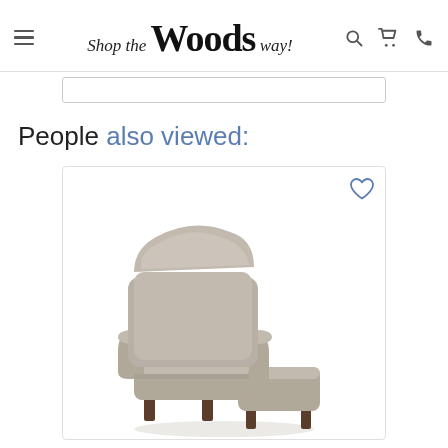Shop the Woods way! [navigation header with hamburger, logo, search, cart, phone icons]
People also viewed:
[Figure (photo): A gray upholstered armchair with matching ottoman, shown on a white background inside a product card with a heart/wishlist icon in the top right corner.]